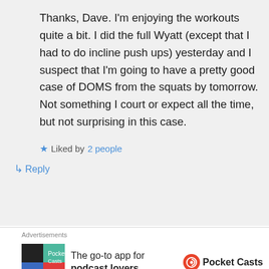Thanks, Dave. I'm enjoying the workouts quite a bit. I did the full Wyatt (except that I had to do incline push ups) yesterday and I suspect that I'm going to have a pretty good case of DOMS from the squats by tomorrow. Not something I court or expect all the time, but not surprising in this case.
★ Liked by 2 people
↳ Reply
[Figure (infographic): Pocket Casts advertisement with logo and text: The go-to app for podcast lovers.]
patmcf on February 18, 2021 at 12:27 AM